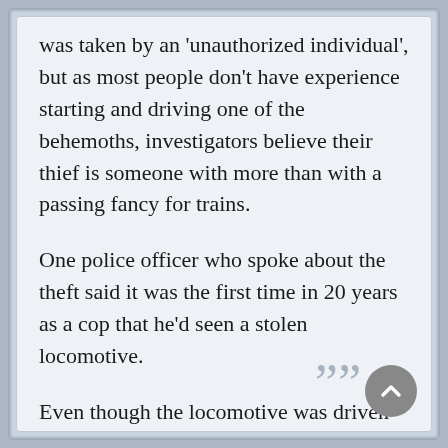…ease said it appears the locomotive was taken by an 'unauthorized individual', but as most people don't have experience starting and driving one of the behemoths, investigators believe their thief is someone with more than with a passing fancy for trains.
One police officer who spoke about the theft said it was the first time in 20 years as a cop that he'd seen a stolen locomotive.
Even though the locomotive was driven without the approval of the CSX train tracking system, there was no traffic on the line at the time and luckily, no collision.